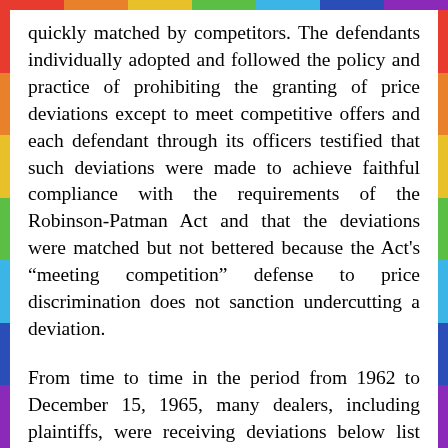quickly matched by competitors. The defendants individually adopted and followed the policy and practice of prohibiting the granting of price deviations except to meet competitive offers and each defendant through its officers testified that such deviations were made to achieve faithful compliance with the requirements of the Robinson-Patman Act and that the deviations were matched but not bettered because the Act's "meeting competition" defense to price discrimination does not sanction undercutting a deviation.
From time to time in the period from 1962 to December 15, 1965, many dealers, including plaintiffs, were receiving deviations below list price from one or more of the gypsum wallboard producers. In the case of plaintiffs, these deviations ranged from $1.00 to $4.00 off list, depending upon the time, the plaintiff and the producer. These price deviations tended to spread